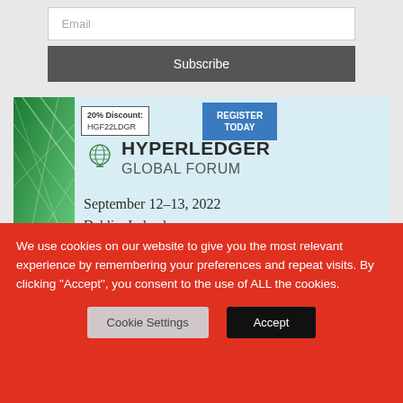[Figure (screenshot): Email subscription form with an Email input field and a dark grey Subscribe button]
[Figure (infographic): Hyperledger Global Forum advertisement banner. Shows 20% Discount code HGF22LDGR, REGISTER TODAY button, globe logo, text HYPERLEDGER GLOBAL FORUM, September 12–13, 2022, Dublin, Ireland. Green geometric design on left.]
We use cookies on our website to give you the most relevant experience by remembering your preferences and repeat visits. By clicking “Accept”, you consent to the use of ALL the cookies.
Cookie Settings
Accept